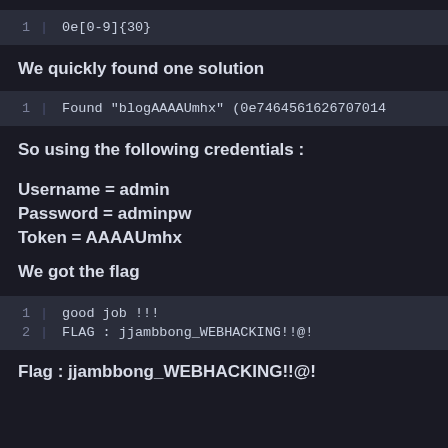[Figure (screenshot): Code block showing regex pattern: 1 | 0e[0-9]{30}]
We quickly found one solution
[Figure (screenshot): Code block showing: 1 | Found "blogAAAAUmhx" (0e7464561626707014]
So using the following credentials :
Username = admin
Password = adminpw
Token = AAAAUmhx
We got the flag
[Figure (screenshot): Code block showing: 1 | good job !!! and 2 | FLAG : jjambbong_WEBHACKING!!@!]
Flag : jjambbong_WEBHACKING!!@!